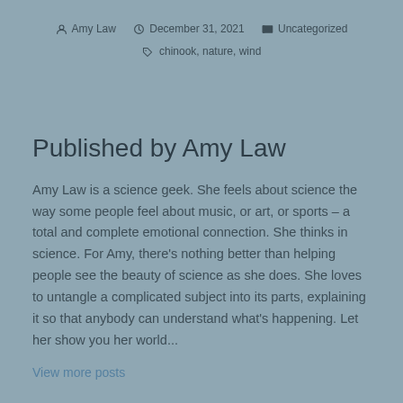Amy Law   December 31, 2021   Uncategorized   chinook, nature, wind
Published by Amy Law
Amy Law is a science geek. She feels about science the way some people feel about music, or art, or sports – a total and complete emotional connection. She thinks in science. For Amy, there's nothing better than helping people see the beauty of science as she does. She loves to untangle a complicated subject into its parts, explaining it so that anybody can understand what's happening. Let her show you her world...
View more posts